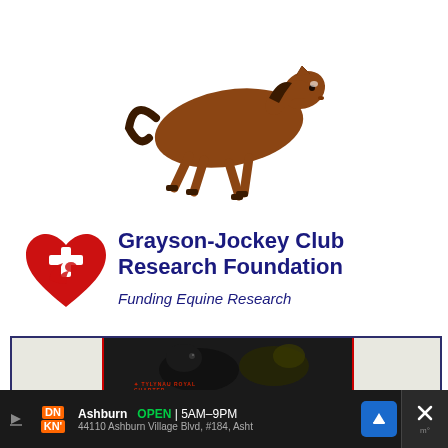[Figure (photo): Brown foal running/trotting on white background]
[Figure (logo): Grayson-Jockey Club Research Foundation logo: red heart with white horse silhouette and plus sign]
Grayson-Jockey Club Research Foundation
Funding Equine Research
[Figure (infographic): Saddle Lake Equestrian Center Welsh Stallions advertisement with two dark horses photo]
SADDLE LAKE EQUESTRIAN CENTER
WELSH STALLIONS
Tylynau Royal Charter
Ashburn  OPEN | 5AM–9PM  44110 Ashburn Village Blvd, #184, Asht